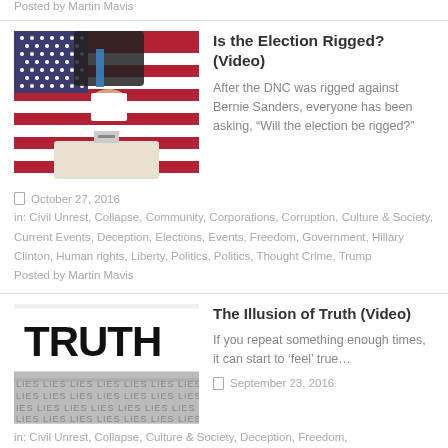Posted by Martin Mavis
Is the Election Rigged? (Video)
[Figure (photo): Person inserting ballot into ballot box with American flag in background]
After the DNC was rigged against Bernie Sanders, everyone has been asking, “Will the election be rigged?”
October 27, 2016
in: Civil Unrest, Collapse, Community, Corporations, Corruption, Culture & Society, Current Events, Deception, Elections, Events, Freedom, Government, Hillary Clinton, Human rights, Liberty, Politics, Politics, Thought Crime, Trump
Posted by Martin Mavis
The Illusion of Truth (Video)
[Figure (photo): Black and white newspaper with TRUTH headline and LIES text repeated]
If you repeat something enough times, it can start to ‘feel’ true…
September 23, 2016
in: Civil Unrest, Collapse, Culture & Society, Deception, Freedom,